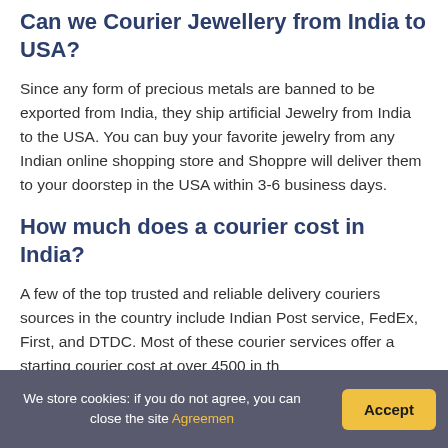Can we Courier Jewellery from India to USA?
Since any form of precious metals are banned to be exported from India, they ship artificial Jewelry from India to the USA. You can buy your favorite jewelry from any Indian online shopping store and Shoppre will deliver them to your doorstep in the USA within 3-6 business days.
How much does a courier cost in India?
A few of the top trusted and reliable delivery couriers sources in the country include Indian Post service, FedEx, First, and DTDC. Most of these courier services offer a starting courier cost at over 4500 in the
We store cookies: if you do not agree, you can close the site Agreemen